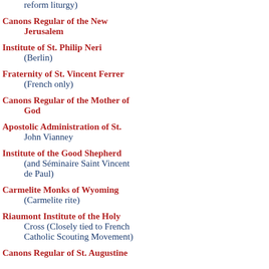reform liturgy)
Canons Regular of the New Jerusalem
Institute of St. Philip Neri (Berlin)
Fraternity of St. Vincent Ferrer (French only)
Canons Regular of the Mother of God
Apostolic Administration of St. John Vianney
Institute of the Good Shepherd (and Séminaire Saint Vincent de Paul)
Carmelite Monks of Wyoming (Carmelite rite)
Riaumont Institute of the Holy Cross (Closely tied to French Catholic Scouting Movement)
Canons Regular of St. Augustine